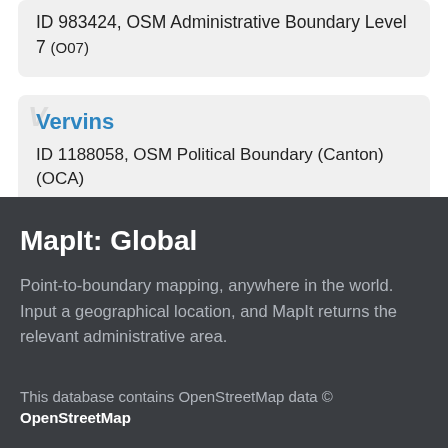ID 983424, OSM Administrative Boundary Level 7 (O07)
Vervins
ID 1188058, OSM Political Boundary (Canton) (OCA)
MapIt: Global
Point-to-boundary mapping, anywhere in the world. Input a geographical location, and MapIt returns the relevant administrative area.
This database contains OpenStreetMap data © OpenStreetMap